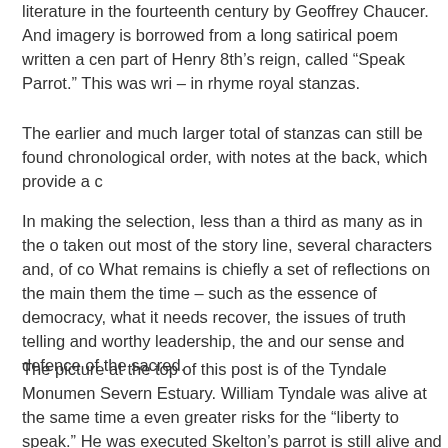literature in the fourteenth century by Geoffrey Chaucer. And imagery is borrowed from a long satirical poem written a century during part of Henry 8th's reign, called “Speak Parrot.” This was written – in rhyme royal stanzas.
The earlier and much larger total of stanzas can still be found in chronological order, with notes at the back, which provide a c
In making the selection, less than a third as many as in the o taken out most of the story line, several characters and, of co What remains is chiefly a set of reflections on the main them the time – such as the essence of democracy, what it needs recover, the issues of truth telling and worthy leadership, the and our sense and defence of the sacred.
The picture at the top of this post is of the Tyndale Monumen Severn Estuary. William Tyndale was alive at the same time a even greater risks for the “liberty to speak.” He was executed Skelton’s parrot is still alive and has done some more speaki But now  he has retreated to the top of the tower in this pictu bird of paradise and needs a home and stand point in which